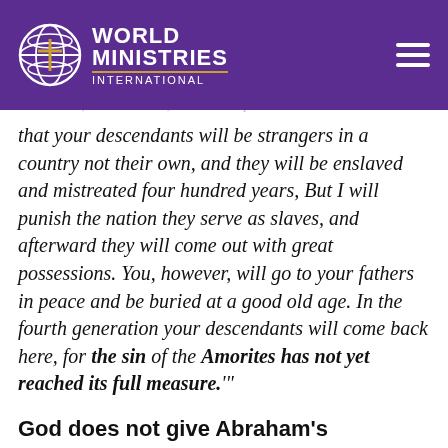World Ministries International
Then the Lord said to him (Abraham), 'Know for certain that your descendants will be strangers in a country not their own, and they will be enslaved and mistreated four hundred years, But I will punish the nation they serve as slaves, and afterward they will come out with great possessions. You, however, will go to your fathers in peace and be buried at a good old age. In the fourth generation your descendants will come back here, for the sin of the Amorites has not yet reached its full measure.'"
God does not give Abraham's